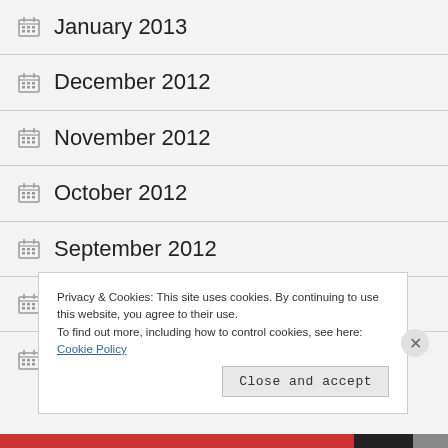January 2013
December 2012
November 2012
October 2012
September 2012
August 2012
July 2012
Privacy & Cookies: This site uses cookies. By continuing to use this website, you agree to their use.
To find out more, including how to control cookies, see here: Cookie Policy
Close and accept